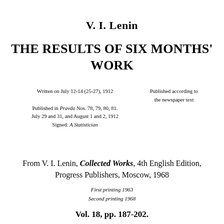V. I. Lenin
THE RESULTS OF SIX MONTHS' WORK
Written on July 12-14 (25-27), 1912

Published in Pravda Nos. 78, 79, 80, 81. July 29 and 31, and August 1 and 2, 1912
Signed: A Statistician
Published according to the newspaper text
From V. I. Lenin, Collected Works, 4th English Edition, Progress Publishers, Moscow, 1968
First printing 1963
Second printing 1968
Vol. 18, pp. 187-202.